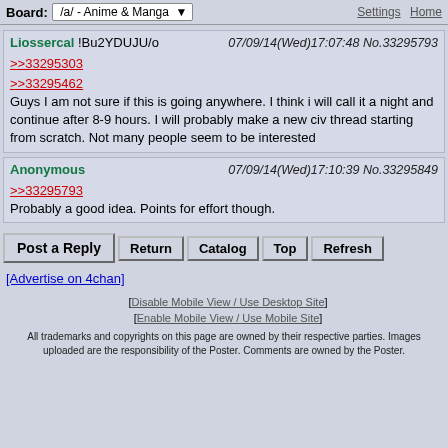Board: /a/ - Anime & Manga | Settings | Home
Liossercal !Bu2YDUJU/o  07/09/14(Wed)17:07:48 No.33295793
>>33295303
>>33295462
Guys I am not sure if this is going anywhere. I think i will call it a night and continue after 8-9 hours. I will probably make a new civ thread starting from scratch. Not many people seem to be interested
Anonymous  07/09/14(Wed)17:10:39 No.33295849
>>33295793
Probably a good idea. Points for effort though.
Post a Reply | Return | Catalog | Top | Refresh
[Advertise on 4chan]
[Disable Mobile View / Use Desktop Site]
[Enable Mobile View / Use Mobile Site]
All trademarks and copyrights on this page are owned by their respective parties. Images uploaded are the responsibility of the Poster. Comments are owned by the Poster.